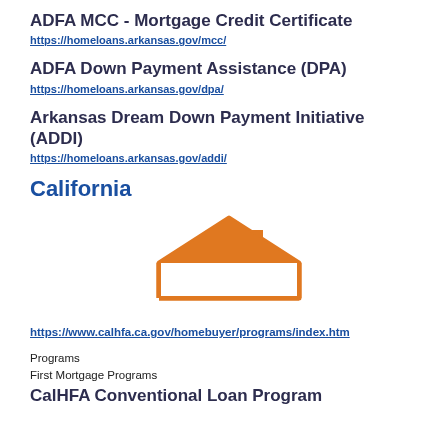ADFA MCC - Mortgage Credit Certificate
https://homeloans.arkansas.gov/mcc/
ADFA Down Payment Assistance (DPA)
https://homeloans.arkansas.gov/dpa/
Arkansas Dream Down Payment Initiative (ADDI)
https://homeloans.arkansas.gov/addi/
California
[Figure (illustration): Orange outline illustration of a house with triangular roof and chimney]
https://www.calhfa.ca.gov/homebuyer/programs/index.htm
Programs
First Mortgage Programs
CalHFA Conventional Loan Program